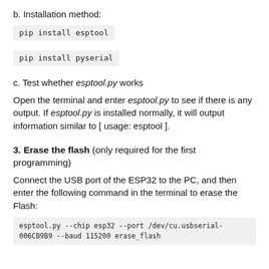b. Installation method:
pip install esptool
pip install pyserial
c. Test whether esptool.py works
Open the terminal and enter esptool.py to see if there is any output. If esptool.py is installed normally, it will output information similar to [ usage: esptool ].
3. Erase the flash (only required for the first programming)
Connect the USB port of the ESP32 to the PC, and then enter the following command in the terminal to erase the Flash:
esptool.py --chip esp32 --port /dev/cu.usbserial-006CB9B9 --baud 115200 erase_flash